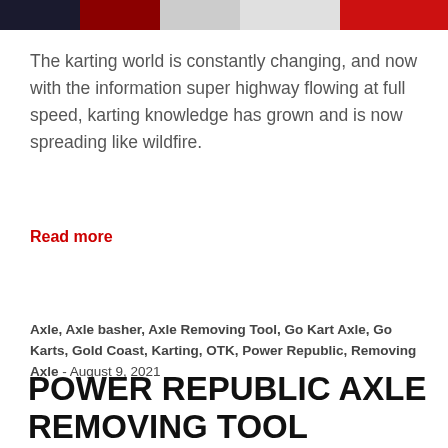[Figure (photo): A banner image showing karting/racing scene at the top of the page]
The karting world is constantly changing, and now with the information super highway flowing at full speed, karting knowledge has grown and is now spreading like wildfire.
Read more
Axle, Axle basher, Axle Removing Tool, Go Kart Axle, Go Karts, Gold Coast, Karting, OTK, Power Republic, Removing Axle - August 9, 2021
POWER REPUBLIC AXLE REMOVING TOOL